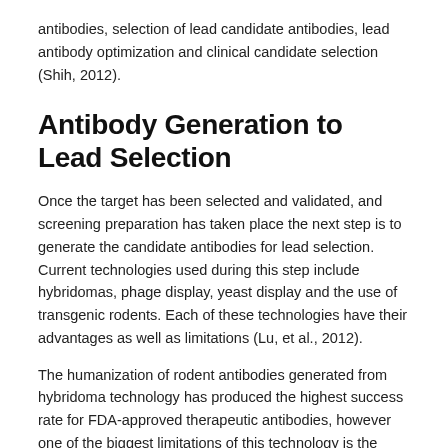antibodies, selection of lead candidate antibodies, lead antibody optimization and clinical candidate selection (Shih, 2012).
Antibody Generation to Lead Selection
Once the target has been selected and validated, and screening preparation has taken place the next step is to generate the candidate antibodies for lead selection. Current technologies used during this step include hybridomas, phage display, yeast display and the use of transgenic rodents. Each of these technologies have their advantages as well as limitations (Lu, et al., 2012).
The humanization of rodent antibodies generated from hybridoma technology has produced the highest success rate for FDA-approved therapeutic antibodies, however one of the biggest limitations of this technology is the